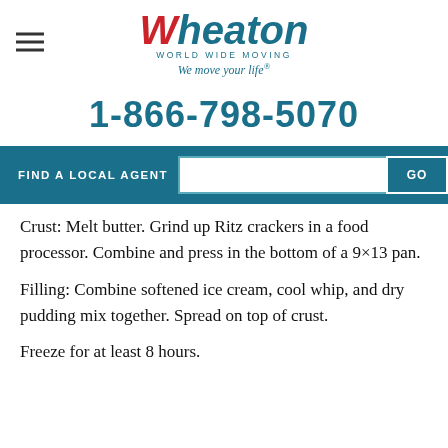[Figure (logo): Wheaton World Wide Moving logo with tagline 'We move your life.']
1-866-798-5070
FIND A LOCAL AGENT  GO
Crust:  Melt butter.  Grind up Ritz crackers in a food processor.  Combine and press in the bottom of a 9×13 pan.
Filling:  Combine softened ice cream, cool whip, and dry pudding mix together.  Spread on top of crust.
Freeze for at least 8 hours.